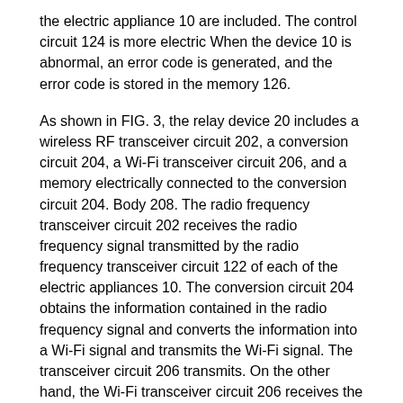the electric appliance 10 are included. The control circuit 124 is more electric When the device 10 is abnormal, an error code is generated, and the error code is stored in the memory 126.
As shown in FIG. 3, the relay device 20 includes a wireless RF transceiver circuit 202, a conversion circuit 204, a Wi-Fi transceiver circuit 206, and a memory electrically connected to the conversion circuit 204. Body 208. The radio frequency transceiver circuit 202 receives the radio frequency signal transmitted by the radio frequency transceiver circuit 122 of each of the electric appliances 10. The conversion circuit 204 obtains the information contained in the radio frequency signal and converts the information into a Wi-Fi signal and transmits the Wi-Fi signal. The transceiver circuit 206 transmits. On the other hand, the Wi-Fi transceiver circuit 206 receives the Wi-Fi signal, and the conversion circuit 204 obtains the data contained in the Wi-Fi signal received by the Wi-Fi transceiver circuit 206 and converts the data into the wireless RF transceiver circuit 202. send.
A memory code unique to the relay device is stored in the